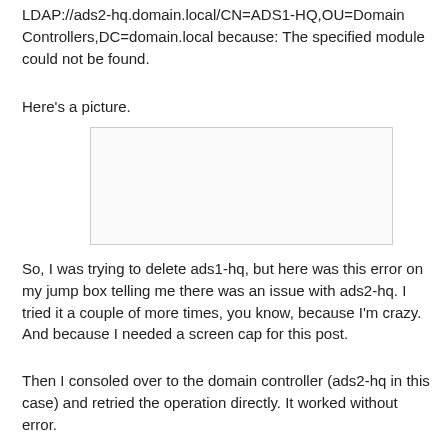LDAP://ads2-hq.domain.local/CN=ADS1-HQ,OU=Domain Controllers,DC=domain.local because: The specified module could not be found.
Here's a picture.
[Figure (screenshot): A blank/white screenshot placeholder with a light gray border]
So, I was trying to delete ads1-hq, but here was this error on my jump box telling me there was an issue with ads2-hq. I tried it a couple of more times, you know, because I'm crazy. And because I needed a screen cap for this post.
Then I consoled over to the domain controller (ads2-hq in this case) and retried the operation directly. It worked without error.